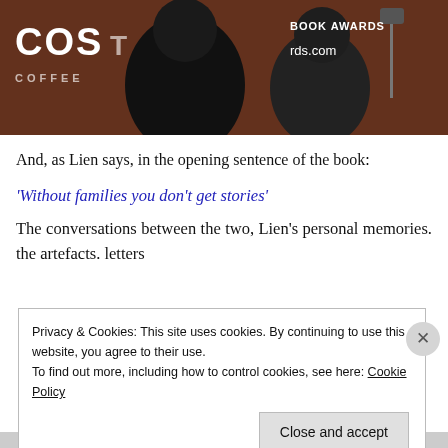[Figure (photo): Two people hugging on a stage in front of a Costa Coffee Book Awards backdrop with a microphone stand visible]
And, as Lien says, in the opening sentence of the book:
'Without families you don't get stories'
The conversations between the two, Lien's personal memories. the artefacts. letters
Privacy & Cookies: This site uses cookies. By continuing to use this website, you agree to their use.
To find out more, including how to control cookies, see here: Cookie Policy
Close and accept